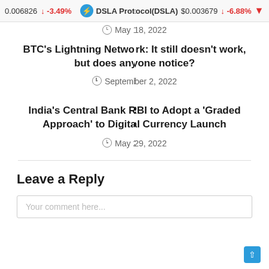0.006826 ↓ -3.49% DSLA Protocol(DSLA) $0.003679 ↓ -6.88%
May 18, 2022
BTC's Lightning Network: It still doesn't work, but does anyone notice?
September 2, 2022
India's Central Bank RBI to Adopt a 'Graded Approach' to Digital Currency Launch
May 29, 2022
Leave a Reply
Your comment here...